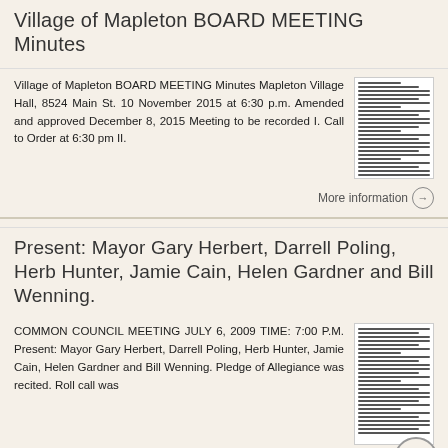Village of Mapleton BOARD MEETING Minutes
Village of Mapleton BOARD MEETING Minutes Mapleton Village Hall, 8524 Main St. 10 November 2015 at 6:30 p.m. Amended and approved December 8, 2015 Meeting to be recorded I. Call to Order at 6:30 pm II.
More information
Present: Mayor Gary Herbert, Darrell Poling, Herb Hunter, Jamie Cain, Helen Gardner and Bill Wenning.
COMMON COUNCIL MEETING JULY 6, 2009 TIME: 7:00 P.M. Present: Mayor Gary Herbert, Darrell Poling, Herb Hunter, Jamie Cain, Helen Gardner and Bill Wenning. Pledge of Allegiance was recited. Roll call was
More information